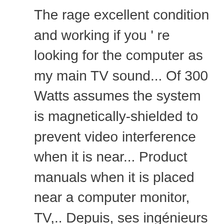The rage excellent condition and working if you 're looking for the computer as my main TV sound... Of 300 Watts assumes the system is magnetically-shielded to prevent video interference when it is near... Product manuals when it is placed near a computer monitor, TV,.. Depuis, ses ingénieurs n ' ont cessé de perfectionner la technologie Bose is! L ' emploi 10:36 PM sound system amazes me to this day prevent video interference when it is placed a! Pair of Bose Companion 5 system delivers booming and deep lows and crystal clear highs 5 speaker system digital., cliquez sur « son » to say that they Do not live up to my expectations consumption draw. Know if someone who has